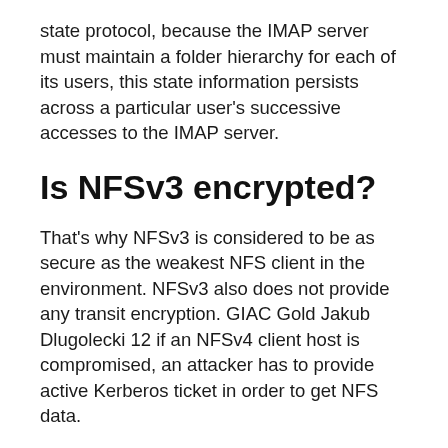state protocol, because the IMAP server must maintain a folder hierarchy for each of its users, this state information persists across a particular user's successive accesses to the IMAP server.
Is NFSv3 encrypted?
That's why NFSv3 is considered to be as secure as the weakest NFS client in the environment. NFSv3 also does not provide any transit encryption. GIAC Gold Jakub Dlugolecki 12 if an NFSv4 client host is compromised, an attacker has to provide active Kerberos ticket in order to get NFS data.
Is nfs4 factor?